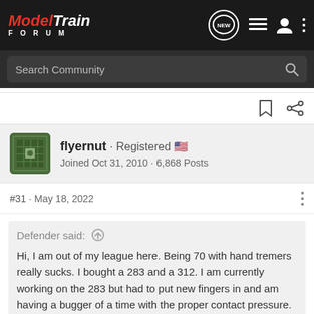ModelTrain FORUM
Search Community
flyernut · Registered 🇺🇸
Joined Oct 31, 2010 · 6,868 Posts
#31 · May 18, 2022
Defender said: ↑
Hi, I am out of my league here. Being 70 with hand tremers really sucks. I bought a 283 and a 312. I am currently working on the 283 but had to put new fingers in and am having a bugger of a time with the proper contact pressure. Keeps catching and hanging up. You offered to service engines for parts and shipping, would like to send you the 312. It runs but it looks like someone has gotten into it before I got it and did some rewiring, plus all the fancy linkages on the